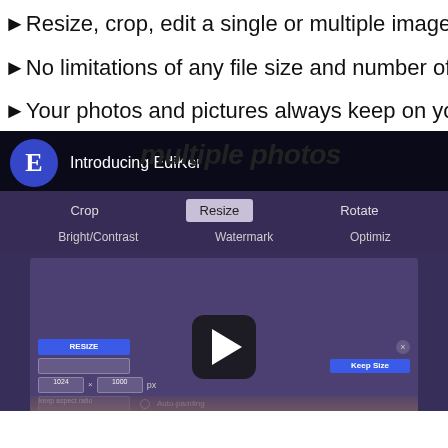►Resize, crop, edit a single or multiple images at o
►No limitations of any file size and number of files.
►Your photos and pictures always keep on your cor
[Figure (screenshot): Screenshot of EdiKer app video thumbnail showing the app interface with Crop, Resize, Rotate, Bright/Contrast, Watermark, Optimize tabs, a resize dialog UI, and a play button overlay. Header shows EdiKer logo and 'Introducing EdiKer' text. Bold italic text 'multiple photos' visible at top right of the video area.]